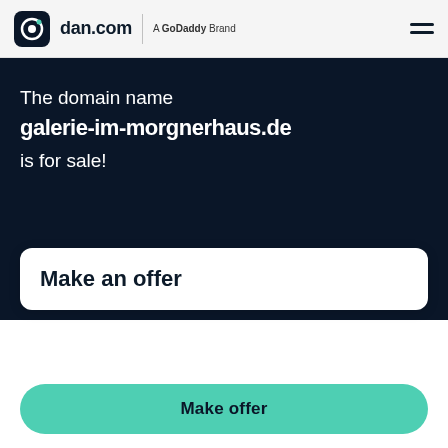dan.com | A GoDaddy Brand
The domain name
galerie-im-morgnerhaus.de
is for sale!
Make an offer
Make offer